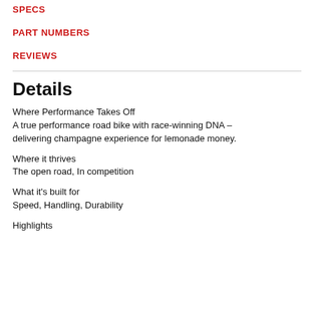SPECS
PART NUMBERS
REVIEWS
Details
Where Performance Takes Off
A true performance road bike with race-winning DNA – delivering champagne experience for lemonade money.
Where it thrives
The open road, In competition
What it's built for
Speed, Handling, Durability
Highlights